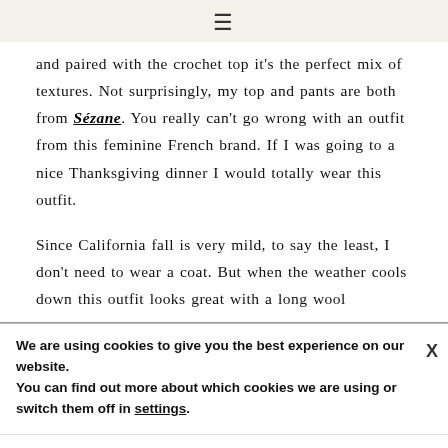≡
and paired with the crochet top it's the perfect mix of textures. Not surprisingly, my top and pants are both from Sézane. You really can't go wrong with an outfit from this feminine French brand. If I was going to a nice Thanksgiving dinner I would totally wear this outfit.

Since California fall is very mild, to say the least, I don't need to wear a coat. But when the weather cools down this outfit looks great with a long wool
We are using cookies to give you the best experience on our website.
You can find out more about which cookies we are using or switch them off in settings.
[Figure (infographic): Burger King advertisement banner with Burger King logo, text 'Burger King®' and 'Burger King' in blue, and a blue diamond navigation icon on the right.]